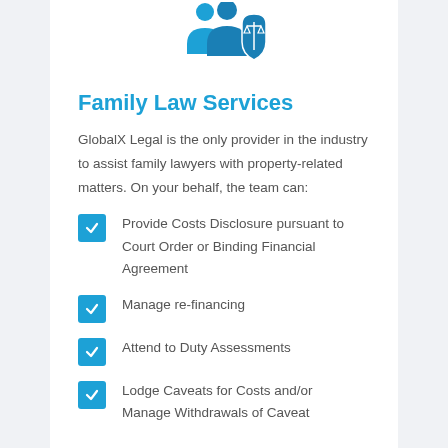[Figure (illustration): Blue icon of two people (family) with a legal/justice scale shield badge]
Family Law Services
GlobalX Legal is the only provider in the industry to assist family lawyers with property-related matters. On your behalf, the team can:
Provide Costs Disclosure pursuant to Court Order or Binding Financial Agreement
Manage re-financing
Attend to Duty Assessments
Lodge Caveats for Costs and/or Manage Withdrawals of Caveat